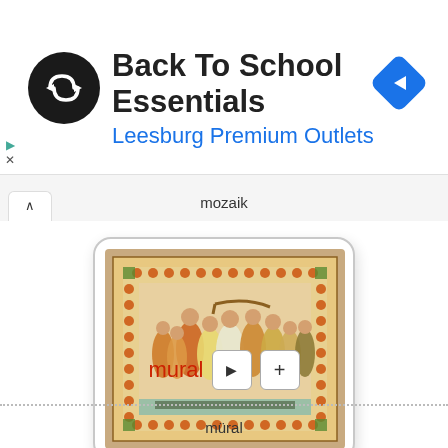[Figure (screenshot): Ad banner with circular black logo with white infinity/arrow symbol, text 'Back To School Essentials' in bold black and 'Leesburg Premium Outlets' in blue, and a blue diamond navigation icon on the right]
mozaik
[Figure (illustration): Medieval manuscript illumination showing a group of musicians playing instruments including a large horn/trumpet, surrounded by a decorative border with circular orange and green patterns]
mural
müral